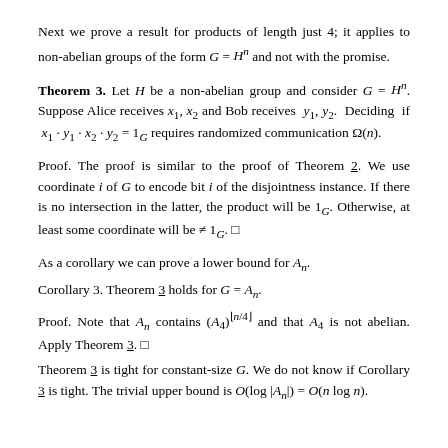Next we prove a result for products of length just 4; it applies to non-abelian groups of the form G = H^n and not with the promise.
Theorem 3. Let H be a non-abelian group and consider G = H^n. Suppose Alice receives x_1, x_2 and Bob receives y_1, y_2. Deciding if x_1 · y_1 · x_2 · y_2 = 1_G requires randomized communication Ω(n).
Proof. The proof is similar to the proof of Theorem 2. We use coordinate i of G to encode bit i of the disjointness instance. If there is no intersection in the latter, the product will be 1_G. Otherwise, at least some coordinate will be ≠ 1_G. □
As a corollary we can prove a lower bound for A_n.
Corollary 3. Theorem 3 holds for G = A_n.
Proof. Note that A_n contains (A_4)^{⌊n/4⌋} and that A_4 is not abelian. Apply Theorem 3. □
Theorem 3 is tight for constant-size G. We do not know if Corollary 3 is tight. The trivial upper bound is O(log|A_n|) = O(n log n).